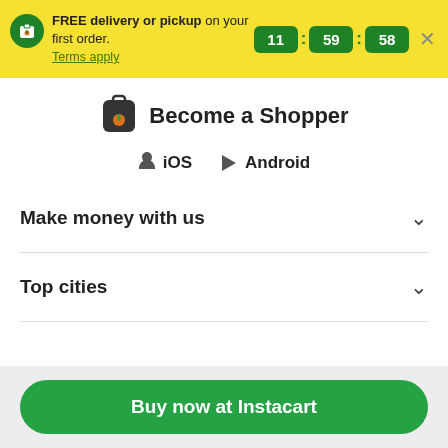FREE delivery or pickup on your first order. Terms apply. 11:59:58
Become a Shopper
iOS   Android
Make money with us
Top cities
Buy now at Instacart